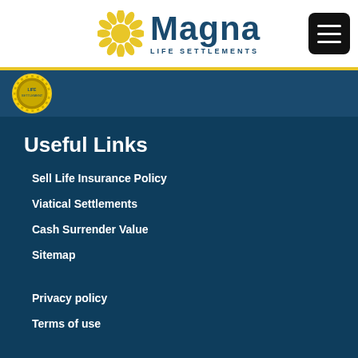Magna Life Settlements
[Figure (logo): Magna Life Settlements logo with yellow sunflower-like icon and dark blue text]
Useful Links
Sell Life Insurance Policy
Viatical Settlements
Cash Surrender Value
Sitemap
Privacy policy
Terms of use
2018-1-ADV